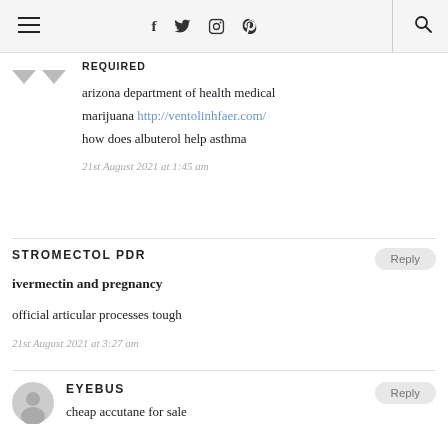Navigation bar with hamburger menu, social icons (f, twitter, instagram, pinterest), and search
REQUIRED
arizona department of health medical marijuana http://ventolinhfaer.com/ how does albuterol help asthma
21st August 2021 at 1:45 am
STROMECTOL PDR
ivermectin and pregnancy
official articular processes tough
21st August 2021 at 3:27 am
EYEBUS
cheap accutane for sale